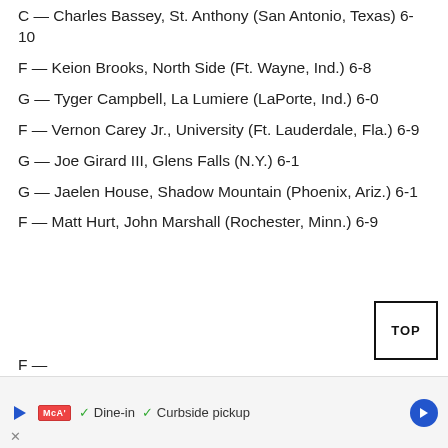C — Charles Bassey, St. Anthony (San Antonio, Texas) 6-10
F — Keion Brooks, North Side (Ft. Wayne, Ind.) 6-8
G — Tyger Campbell, La Lumiere (LaPorte, Ind.) 6-0
F — Vernon Carey Jr., University (Ft. Lauderdale, Fla.) 6-9
G — Joe Girard III, Glens Falls (N.Y.) 6-1
G — Jaelen House, Shadow Mountain (Phoenix, Ariz.) 6-1
F — Matt Hurt, John Marshall (Rochester, Minn.) 6-9